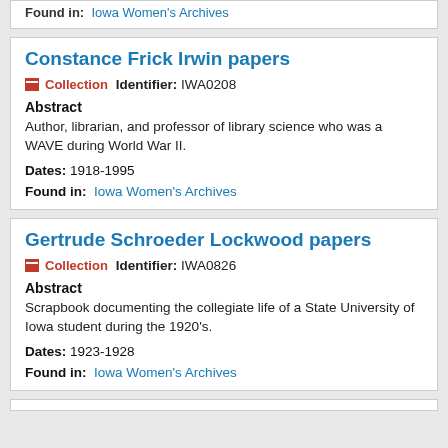Found in:  Iowa Women's Archives
Constance Frick Irwin papers
Collection   Identifier: IWA0208
Abstract
Author, librarian, and professor of library science who was a WAVE during World War II.
Dates: 1918-1995
Found in:  Iowa Women's Archives
Gertrude Schroeder Lockwood papers
Collection   Identifier: IWA0826
Abstract
Scrapbook documenting the collegiate life of a State University of Iowa student during the 1920's.
Dates: 1923-1928
Found in:  Iowa Women's Archives